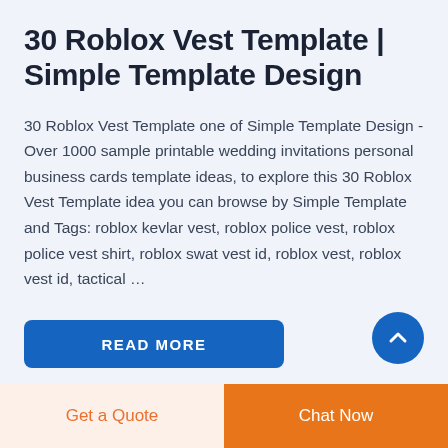30 Roblox Vest Template | Simple Template Design
30 Roblox Vest Template one of Simple Template Design - Over 1000 sample printable wedding invitations personal business cards template ideas, to explore this 30 Roblox Vest Template idea you can browse by Simple Template and Tags: roblox kevlar vest, roblox police vest, roblox police vest shirt, roblox swat vest id, roblox vest, roblox vest id, tactical …
[Figure (other): Blue READ MORE button]
[Figure (other): Blue circular scroll-to-top arrow button]
Get a Quote
Chat Now